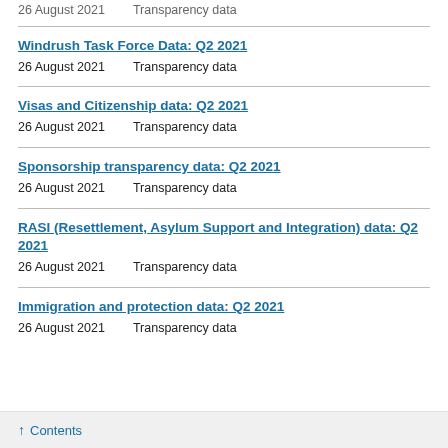Windrush Task Force Data: Q2 2021
26 August 2021    Transparency data
Visas and Citizenship data: Q2 2021
26 August 2021    Transparency data
Sponsorship transparency data: Q2 2021
26 August 2021    Transparency data
RASI (Resettlement, Asylum Support and Integration) data: Q2 2021
26 August 2021    Transparency data
Immigration and protection data: Q2 2021
26 August 2021    Transparency data
↑ Contents